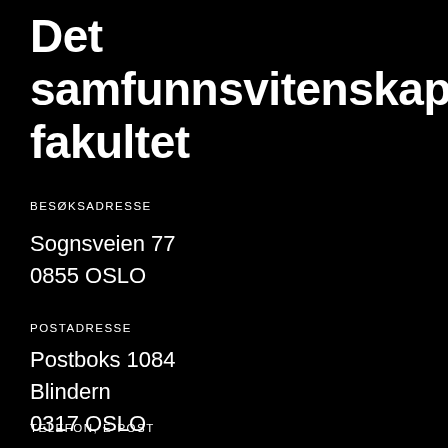Det samfunnsvitenskapelige fakultet
BESØKSADRESSE
Sognsveien 77
0855 OSLO
POSTADRESSE
Postboks 1084
Blindern
0317 OSLO
TELEFON, E-POST